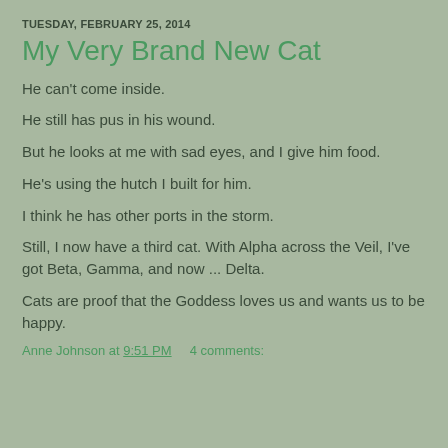TUESDAY, FEBRUARY 25, 2014
My Very Brand New Cat
He can't come inside.
He still has pus in his wound.
But he looks at me with sad eyes, and I give him food.
He's using the hutch I built for him.
I think he has other ports in the storm.
Still, I now have a third cat. With Alpha across the Veil, I've got Beta, Gamma, and now ... Delta.
Cats are proof that the Goddess loves us and wants us to be happy.
Anne Johnson at 9:51 PM    4 comments: